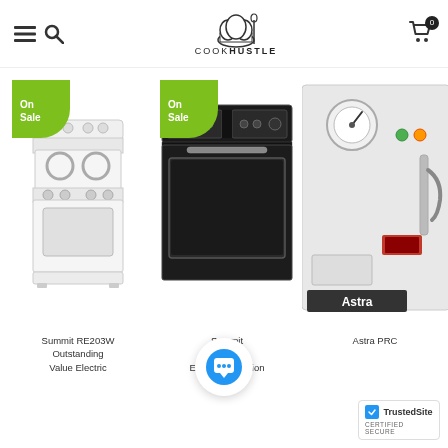CookHustle navigation header with menu, search, logo and cart
[Figure (photo): Summit RE203W white electric range with coil burners]
[Figure (photo): Summit built-in wall oven with black finish and electronic controls]
[Figure (photo): Astra PRC commercial appliance unit, partially cropped]
Summit RE203W Outstanding Value Electric
Summit 7212KW Electronic Ignition
Astra PRC